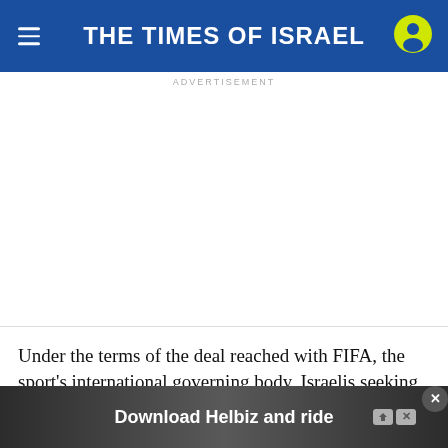THE TIMES OF ISRAEL
ADVERTISEMENT
Under the terms of the deal reached with FIFA, the sport's international governing body, Israelis seeking to attend must purchase a ticket to a game, then a which bles